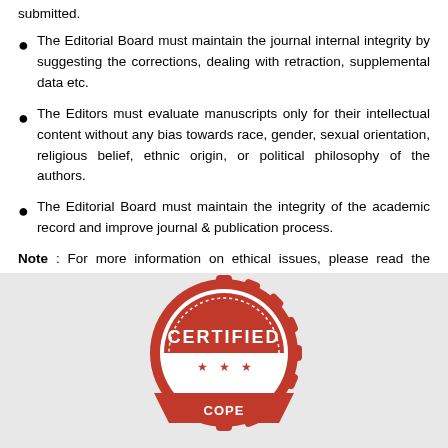submitted.
The Editorial Board must maintain the journal internal integrity by suggesting the corrections, dealing with retraction, supplemental data etc.
The Editors must evaluate manuscripts only for their intellectual content without any bias towards race, gender, sexual orientation, religious belief, ethnic origin, or political philosophy of the authors.
The Editorial Board must maintain the integrity of the academic record and improve journal & publication process.
Note : For more information on ethical issues, please read the following COPE's guidelines that might be helpful for authors as well as editors.
[Figure (logo): COPE Certified badge/seal in red with the word CERTIFIED across the middle arc, stars below, and additional text at the bottom partially cropped.]